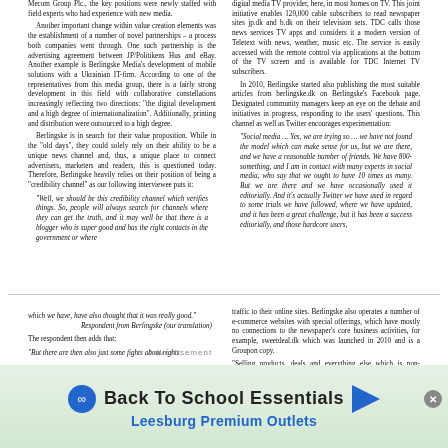Mecom Group Plc., the key positions were newly staffed with field experts who had experience with new media.
Another important change within value creation elements was the establishment of a number of novel partnerships – a process both companies went through. One such partnership is the advertising agreement between JP/Politikens Hus and eBay. Another example is Berlingske Media's development of mobile solutions with a Ukrainian IT-firm. According to one of the representatives from this media group, there is a fairly strong development in this field with collaborative constellations increasingly reflecting two directions: "the digital development and a high degree of internationalization". Additionally, printing and distribution were outsourced to a high degree.
Berlingske is in search for their value proposition. While in the "old days", they could solely rely on their ability to be a unique news channel and, thus, a unique place to connect advertisers, marketers and readers, this is questioned today. Therefore, Berlingske heavily relies on their position of being a "credibility channel" as our following interviewee puts it:
"Well, we should be this credibility channel which verifies things. So, people will always search for channels where they can get the truth, and it may well be that there is a blogger who is super good and has the right contacts in the government or where
digital media TV provider, here, in most homes on TV. This joint initiative enables 120,000 cable subscribers to read newspaper sites jp.dk and b.dk on their television sets. TDC calls those news services TV apps and considers it a modern version of Teletext with news, weather, music etc. The service is easily accessed with the remote control via applications at the bottom of the TV screen and is available for TDC Internet TV subscribers.
In 2010, Berlingske started also publishing the most suitable articles from berlingske.dk on Berlingske's Facebook page. Designated community managers keep an eye on the debate and initiatives in progress, responding to the users' questions. This channel as well as Twitter encourages experimentation:
"Social media … Yes, we are trying so … we have not found the model which can make sense for us, but we are there, and we have a reasonable number of friends. We have 800-something, and I am in contact with many experts in social media, who say that we ought to have 10 times as many. But we are there and we have occasionally used it editorially. And it's actually Twitter we have used in regard to some trials we have followed, where we have updated, and it has been a great challenge, but it has been a success editorially, and those hardcore users,
6
which we have, have also thought that it was really good." Respondent from Berlingske (our translation)
The respondent then adds that:
"But there are then also just some fights about rights
traffic to their online sites. Berlingske also operates a number of e-commerce websites with special offerings, which have mostly no connections to the newspaper's core business activities, for example, sweetdeal.dk which was launched in 2010 and is a Groupon copy.
"Selling products, deals and everything else which is non-traditional revenue, you can say - we also have
Advertisement